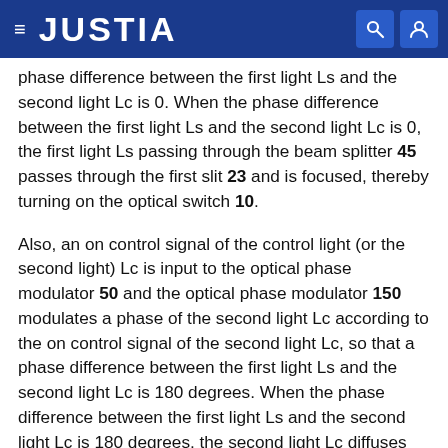JUSTIA
phase difference between the first light Ls and the second light Lc is 0. When the phase difference between the first light Ls and the second light Lc is 0, the first light Ls passing through the beam splitter 45 passes through the first slit 23 and is focused, thereby turning on the optical switch 10.
Also, an on control signal of the control light (or the second light) Lc is input to the optical phase modulator 50 and the optical phase modulator 150 modulates a phase of the second light Lc according to the on control signal of the second light Lc, so that a phase difference between the first light Ls and the second light Lc is 180 degrees. When the phase difference between the first light Ls and the second light Lc is 180 degrees, the second light Lc diffuses the first light Ls, thereby turning off the optical switch 10. As described above, the phase difference generator may be embodied in various ways